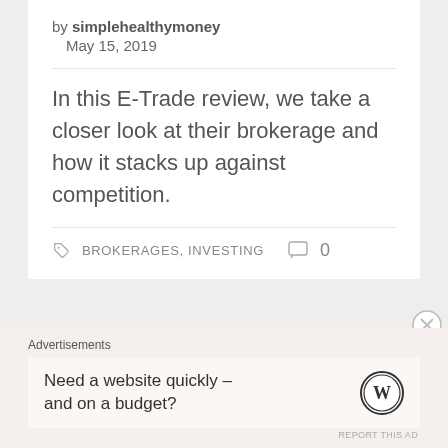by simplehealthymoney
May 15, 2019
In this E-Trade review, we take a closer look at their brokerage and how it stacks up against competition.
BROKERAGES, INVESTING  0
Advertisements
Need a website quickly – and on a budget?